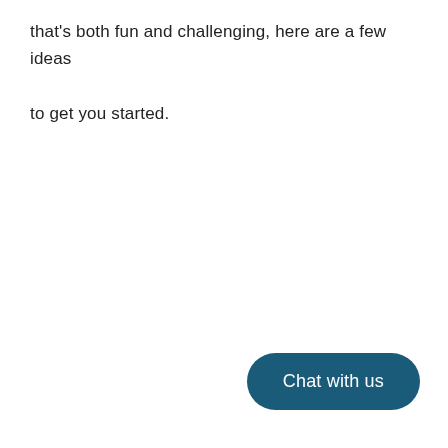that's both fun and challenging, here are a few ideas to get you started.
[Figure (other): A rounded rectangle button with dark blue background and white text reading 'Chat with us']